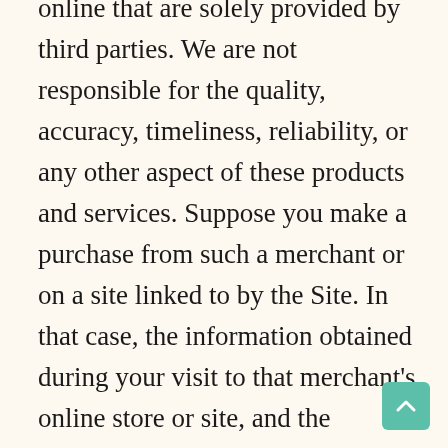online that are solely provided by third parties. We are not responsible for the quality, accuracy, timeliness, reliability, or any other aspect of these products and services. Suppose you make a purchase from such a merchant or on a site linked to by the Site. In that case, the information obtained during your visit to that merchant's online store or site, and the information you give as part of the transaction, such as your credit card number and contact information, may be collected by both the merchant and us. A merchant may have privacy and data collection practices that are different from ours. We have no responsibility or liability for these independent policies. In